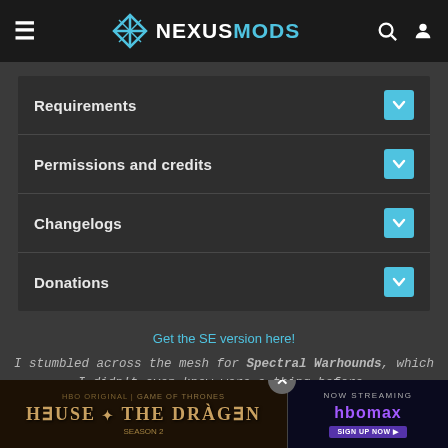NEXUSMODS
Requirements
Permissions and credits
Changelogs
Donations
Get the SE version here!
I stumbled across the mesh for Spectral Warhounds, which I didn't even know were a thing before, and instantly thought how cool it would be to have an undead/ghost dog follower! But why make a dog, when you could make a wolf! ;) And you know what would be even cuter?! A puppy! 'Cause undead/ghost things should be cute... right?
[Figure (screenshot): House of the Dragon HBO Max advertisement banner at bottom of page]